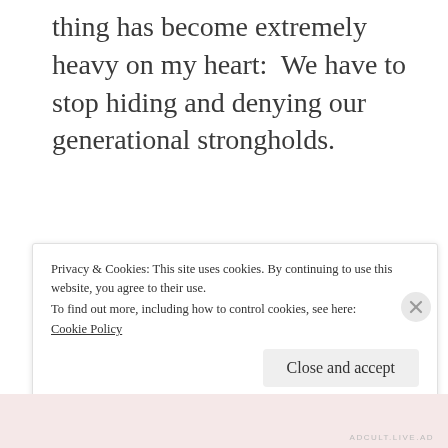thing has become extremely heavy on my heart:  We have to stop hiding and denying our generational strongholds.
[Figure (other): Automattic advertisement banner with blue background, logo at top reading AUTOMATTIC, tagline 'Love working again.' in large bold white text, and a white Apply button.]
Privacy & Cookies: This site uses cookies. By continuing to use this website, you agree to their use.
To find out more, including how to control cookies, see here:
Cookie Policy
Close and accept